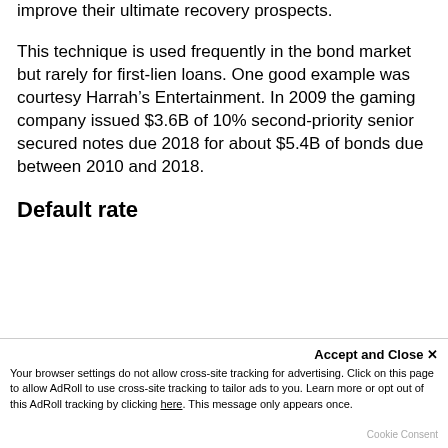improve their ultimate recovery prospects.
This technique is used frequently in the bond market but rarely for first-lien loans. One good example was courtesy Harrah’s Entertainment. In 2009 the gaming company issued $3.6B of 10% second-priority senior secured notes due 2018 for about $5.4B of bonds due between 2010 and 2018.
Default rate
US leveraged loan default rate
Accept and Close ×
Your browser settings do not allow cross-site tracking for advertising. Click on this page to allow AdRoll to use cross-site tracking to tailor ads to you. Learn more or opt out of this AdRoll tracking by clicking here. This message only appears once.